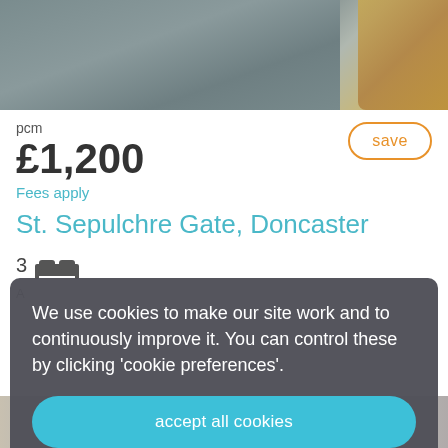[Figure (photo): Top portion of a bedroom photo showing grey carpet and wooden furniture]
pcm
£1,200
save
Fees apply
St. Sepulchre Gate, Doncaster
3 [bed icon]
We use cookies to make our site work and to continuously improve it. You can control these by clicking 'cookie preferences'.
accept all cookies
cookie preferences
[Figure (photo): Bottom portion of property listing page showing furniture]